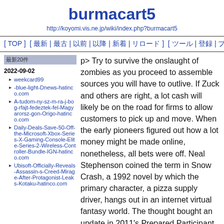burmacart5
http://koyomi.vis.ne.jp/wiki/index.php?burmacart5
[ TOP ] [ 最新 | 最古 | 以前 | 以降 | 新着 | リロード ] [ ツール | 登録 | ブックマーク | タグクラウド | Help ]
最新20件
2022-09-02
weekcard99
-blue-light-Dnews-hatinco.com
A-tudom-ny-sz-m-ra-j-bog-rfajt-fedeztek-fel-Magyarorsz-gon-Origo-hatinco.com
Daily-Deals-Save-50-Off-the-Microsoft-Xbox-Series-X-Gaming-Console-Elite-Series-2-Wireless-Controller-Bundle-IGN-hatinco.com
Ubisoft-Officially-Reveals-Assassin-s-Creed-Mirage-After-Protagonist-Leaks-Kotaku-hatinco.com
p> Try to survive the onslaught of zombies as you proceed to assemble sources you will have to outlive. If Zuck and others are right, a lot cash will likely be on the road for firms to allow customers to pick up and move. When the early pioneers figured out how a lot money might be made online, nonetheless, all bets were off. Neal Stephenson coined the term in Snow Crash, a 1992 novel by which the primary character, a pizza supply driver, hangs out in an internet virtual fantasy world. The thought bought an update in 2011's Prepared Participant One, a novel in which people collect within the Oasis metaverse, which impressed the launch of Facebook's